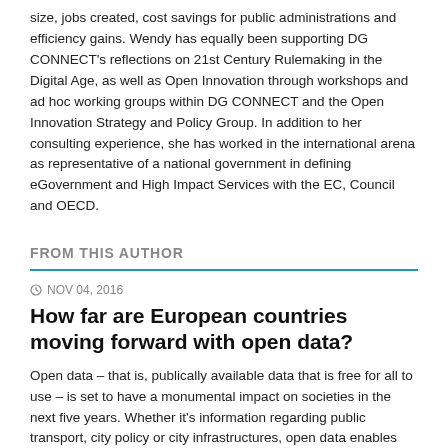size, jobs created, cost savings for public administrations and efficiency gains. Wendy has equally been supporting DG CONNECT's reflections on 21st Century Rulemaking in the Digital Age, as well as Open Innovation through workshops and ad hoc working groups within DG CONNECT and the Open Innovation Strategy and Policy Group. In addition to her consulting experience, she has worked in the international arena as representative of a national government in defining eGovernment and High Impact Services with the EC, Council and OECD.
FROM THIS AUTHOR
NOV 04, 2016
How far are European countries moving forward with open data?
Open data – that is, publically available data that is free for all to use – is set to have a monumental impact on societies in the next five years. Whether it's information regarding public transport, city policy or city infrastructures, open data enables public sector bodies, businesses and citizens to make more informed decisions about the things that really matter in their society. In fact, an increasing number of European governments are beginning to publish data...